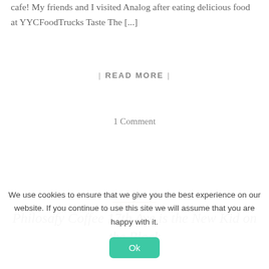cafe! My friends and I visited Analog after eating delicious food at YYCFoodTrucks Taste The [...]
| READ MORE |
1 Comment
CAFES ...
Philosafy Coffee 17th Ave is the New Kid on the Block
We use cookies to ensure that we give you the best experience on our website. If you continue to use this site we will assume that you are happy with it.
Ok